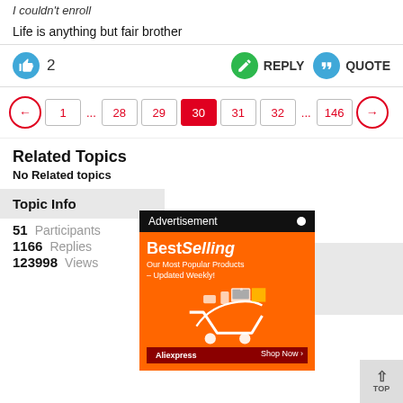I couldn't enroll
Life is anything but fair brother
2 REPLY QUOTE
← 1 ... 28 29 30 31 32 ... 146 →
Related Topics
No Related topics
Topic Info
51  Participants
1166  Replies
123998  Views
[Figure (screenshot): Advertisement overlay showing BestSelling products from AliExpress on an orange background]